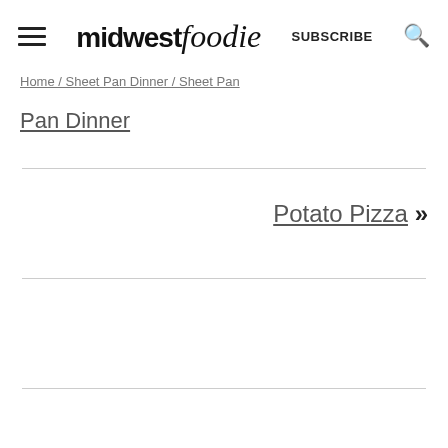midwest foodie | SUBSCRIBE
Home / Sheet Pan Dinner / Sheet Pan Dinner
Pan Dinner
Potato Pizza »